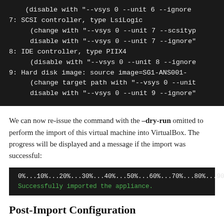[Figure (screenshot): Dark terminal/code block showing VirtualBox import unit listing: items 7 (SCSI controller LsiLogic), 8 (IDE controller PIIX4), 9 (Hard disk image SG1-ANS001-) with change/disable instructions]
We can now re-issue the command with the –dry-run omitted to perform the import of this virtual machine into VirtualBox. The progress will be displayed and a message if the import was successful:
[Figure (screenshot): Terminal output showing import progress: 0%...10%...20%...30%...40%...50%...60%...70%...80%...90%...100% and 'Successfully imported the appliance.']
Post-Import Configuration
Let's check that we can see the VM in the VirtualBox inventory: